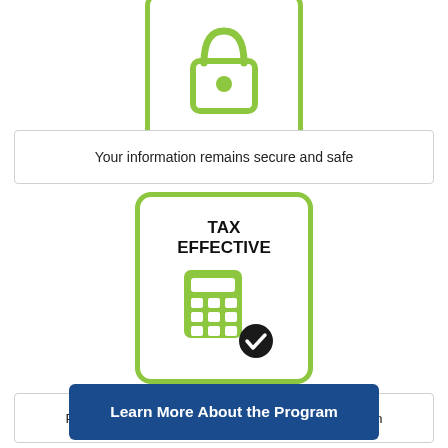[Figure (illustration): Green-bordered rounded square card with a padlock icon (green outline, white fill)]
Your information remains secure and safe
[Figure (illustration): Green-bordered rounded square card with bold text 'TAX EFFECTIVE' and a green calculator icon with a black checkmark badge]
Pension plans and RRSP are tax free until withdrawn
Learn More About the Program